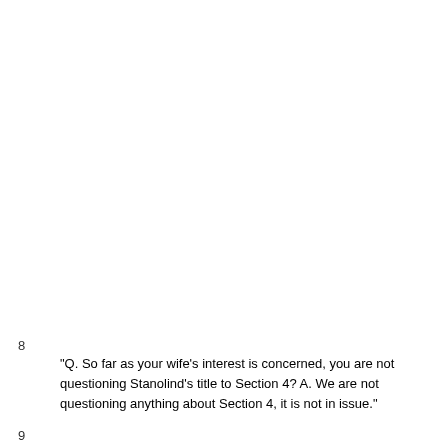8
"Q. So far as your wife's interest is concerned, you are not questioning Stanolind's title to Section 4? A. We are not questioning anything about Section 4, it is not in issue."
9